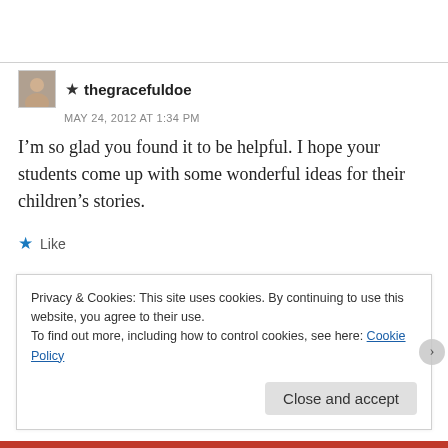★ thegracefuldoe
MAY 24, 2012 AT 1:34 PM
I'm so glad you found it to be helpful. I hope your students come up with some wonderful ideas for their children's stories.
★ Like
➜ REPLY
Privacy & Cookies: This site uses cookies. By continuing to use this website, you agree to their use.
To find out more, including how to control cookies, see here: Cookie Policy
Close and accept